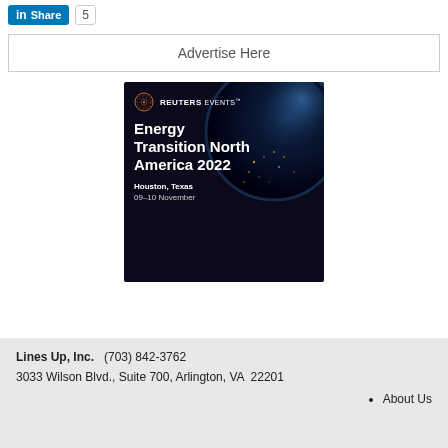[Figure (logo): LinkedIn Share button with count of 5]
Advertise Here
[Figure (infographic): Reuters Events advertisement for Energy Transition North America 2022, Houston Texas, 09-10 November, on dark background with globe image]
Lines Up, Inc.   (703) 842-3762
3033 Wilson Blvd., Suite 700, Arlington, VA  22201
About Us